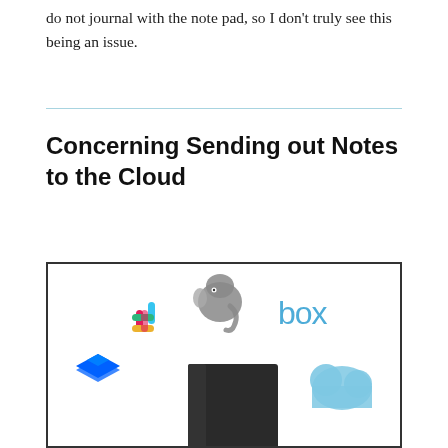do not journal with the note pad, so I don't truly see this being an issue.
Concerning Sending out Notes to the Cloud
[Figure (illustration): Illustration showing various cloud storage and note-taking app logos (Slack/hashtag, Evernote elephant, Box, Dropbox, iCloud) arranged around a central dark spiral notebook, representing sending notes to the cloud.]